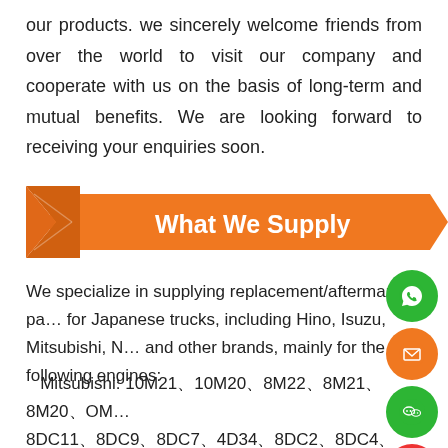our products. we sincerely welcome friends from over the world to visit our company and cooperate with us on the basis of long-term and mutual benefits. We are looking forward to receiving your enquiries soon.
What We Supply
We specialize in supplying replacement/aftermarket parts for Japanese trucks, including Hino, Isuzu, Mitsubishi, Nissan and other brands, mainly for the following engines:
Mitsubishi: 10M21、10M20、8M22、8M21、8M20、OM457、8DC11、8DC9、8DC7、4D34、8DC2、8DC4、8DC6、8DC8、6M60、6M70、6R10、6D40、6D24、6D10、6D11、6D14、6D15、